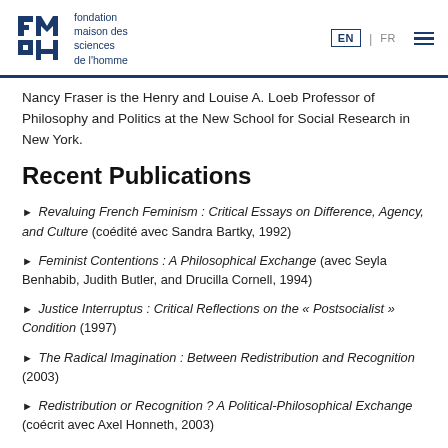fondation maison des sciences de l'homme | EN | FR
Nancy Fraser is the Henry and Louise A. Loeb Professor of Philosophy and Politics at the New School for Social Research in New York.
Recent Publications
Revaluing French Feminism : Critical Essays on Difference, Agency, and Culture (coédité avec Sandra Bartky, 1992)
Feminist Contentions : A Philosophical Exchange (avec Seyla Benhabib, Judith Butler, and Drucilla Cornell, 1994)
Justice Interruptus : Critical Reflections on the « Postsocialist » Condition (1997)
The Radical Imagination : Between Redistribution and Recognition (2003)
Redistribution or Recognition ? A Political-Philosophical Exchange (coécrit avec Axel Honneth, 2003)
Scales of Justice: Reimagining Political Space in a Globalizing World